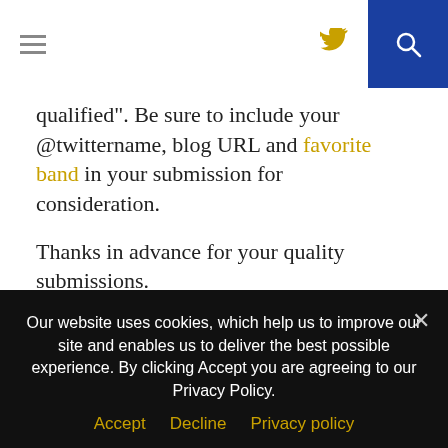[hamburger menu] [twitter icon] [search button]
qualified". Be sure to include your @twittername, blog URL and favorite band in your submission for consideration.
Thanks in advance for your quality submissions.
Compensation: Commensurate with effort
Position Type: Temp to Perm, while seen as strategic, could easily be abandoned
April 5, 2008 by Jon Gatrell
Our website uses cookies, which help us to improve our site and enables us to deliver the best possible experience. By clicking Accept you are agreeing to our Privacy Policy.
Accept  Decline  Privacy policy